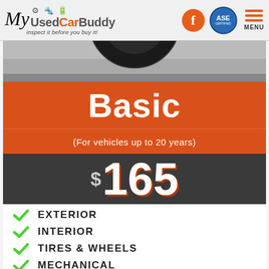My UsedCarBuddy — inspect it before you buy it!
[Figure (photo): Close-up photo of a vehicle tire on grey surface]
Basic
(For vehicles up to 20 years)
$165
✓ EXTERIOR
✓ INTERIOR
✓ TIRES & WHEELS
✓ MECHANICAL
✗ PAINT TEST